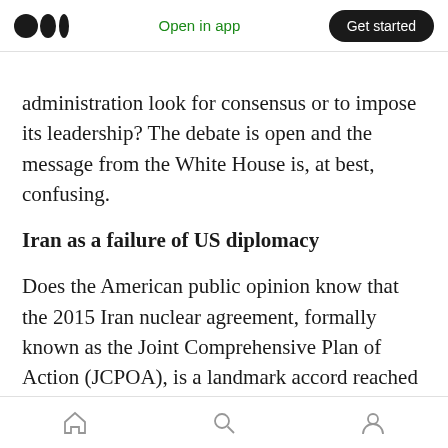Open in app  Get started
administration look for consensus or to impose its leadership? The debate is open and the message from the White House is, at best, confusing.
Iran as a failure of US diplomacy
Does the American public opinion know that the 2015 Iran nuclear agreement, formally known as the Joint Comprehensive Plan of Action (JCPOA), is a landmark accord reached between Iran and several world powers (US, EU, China and Russia)
Home  Search  Profile